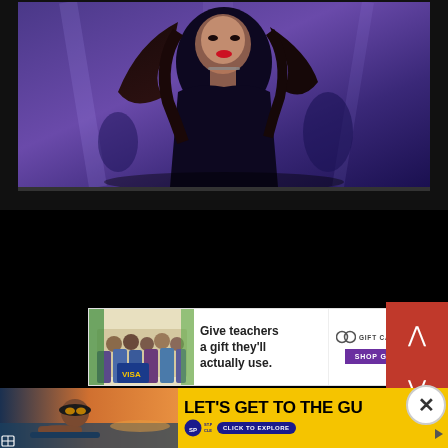[Figure (screenshot): Screenshot of a video player showing a K-pop performer with long dark hair on a purple/blue stage background. The video frame is set against a dark background.]
[Figure (screenshot): Black video player controls/buffer area below the video frame on a black background.]
[Figure (advertisement): Advertisement banner: 'Give teachers a gift they’ll actually use.' with Gift Card Granny logo and 'SHOP GIFT CARDS' purple button. Shows group photo on left side.]
[Figure (advertisement): Bottom advertisement for St. Pete Clearwater: 'LET’S GET TO THE GU...' in bold black text on yellow background with woman in sunglasses by pool at sunset on left. Has St. Pete Clearwater logo and 'CLICK TO EXPLORE' button. Close (X) button in top right.]